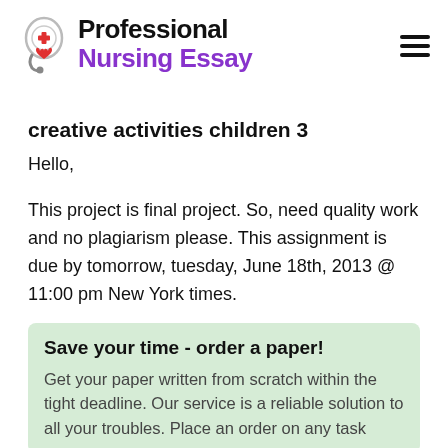Professional Nursing Essay
creative activities children 3
Hello,
This project is final project. So, need quality work and no plagiarism please. This assignment is due by tomorrow, tuesday, June 18th, 2013 @ 11:00 pm New York times.
Save your time - order a paper!
Get your paper written from scratch within the tight deadline. Our service is a reliable solution to all your troubles. Place an order on any task